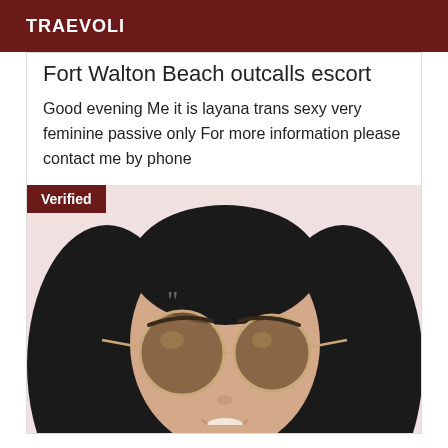TRAEVOLI
Fort Walton Beach outcalls escort
Good evening Me it is layana trans sexy very feminine passive only For more information please contact me by phone
[Figure (photo): Photo of a person wearing large round sunglasses with long dark hair, smiling. A 'Verified' badge appears in the top-left corner of the image.]